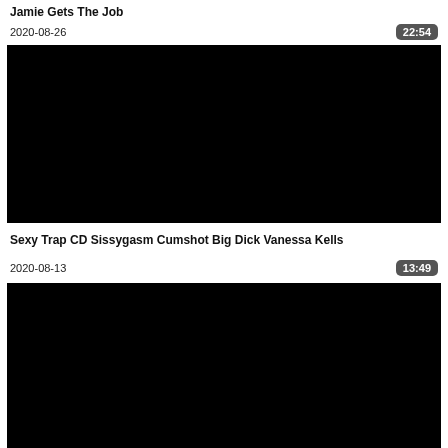Jamie Gets The Job
2020-08-26
22:54
[Figure (photo): Black video thumbnail placeholder]
Sexy Trap CD Sissygasm Cumshot Big Dick Vanessa Kells
2020-08-13
13:49
[Figure (photo): Black video thumbnail placeholder (partial, bottom of page)]